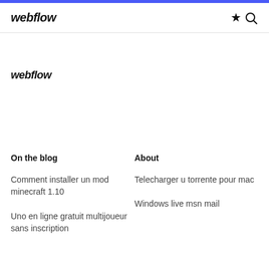webflow
webflow
On the blog
About
Comment installer un mod minecraft 1.10
Telecharger u torrente pour mac
Uno en ligne gratuit multijoueur sans inscription
Windows live msn mail